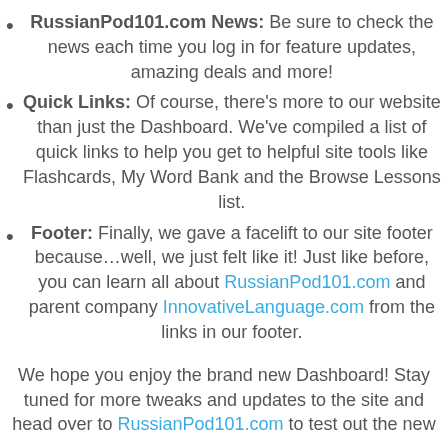RussianPod101.com News: Be sure to check the news each time you log in for feature updates, amazing deals and more!
Quick Links: Of course, there's more to our website than just the Dashboard. We've compiled a list of quick links to help you get to helpful site tools like Flashcards, My Word Bank and the Browse Lessons list.
Footer: Finally, we gave a facelift to our site footer because…well, we just felt like it! Just like before, you can learn all about RussianPod101.com and parent company InnovativeLanguage.com from the links in our footer.
We hope you enjoy the brand new Dashboard! Stay tuned for more tweaks and updates to the site and head over to RussianPod101.com to test out the new